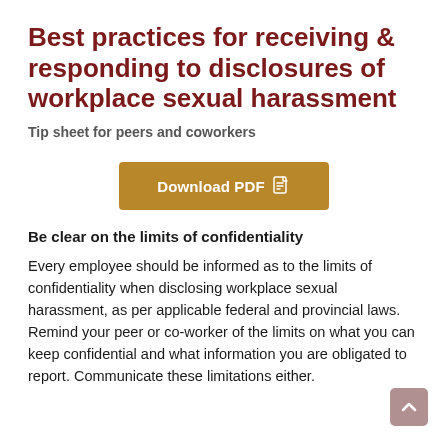Best practices for receiving & responding to disclosures of workplace sexual harassment
Tip sheet for peers and coworkers
[Figure (other): Download PDF button with document icon]
Be clear on the limits of confidentiality
Every employee should be informed as to the limits of confidentiality when disclosing workplace sexual harassment, as per applicable federal and provincial laws. Remind your peer or co-worker of the limits on what you can keep confidential and what information you are obligated to report. Communicate these limitations either.